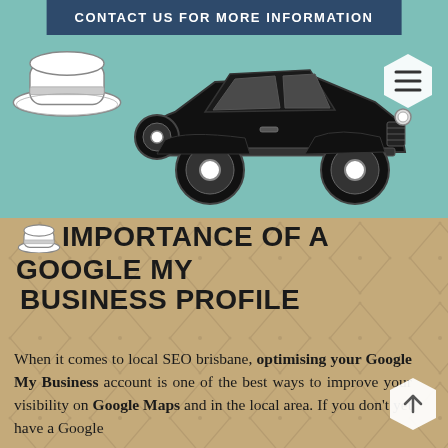[Figure (screenshot): Website header with teal background showing a vintage black car illustration and a white fedora hat on the left. A dark navy button at top center reads 'CONTACT US FOR MORE INFORMATION'. A white hexagon menu icon is in the top right.]
IMPORTANCE OF A GOOGLE MY BUSINESS PROFILE
When it comes to local SEO brisbane, optimising your Google My Business account is one of the best ways to improve your visibility on Google Maps and in the local area. If you don't yet have a Google My Business account...